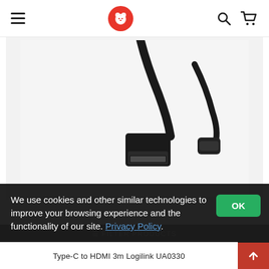Navigation header with hamburger menu, bear logo, search and cart icons
[Figure (photo): Close-up photo of a black USB Type-C to HDMI cable connector on a white background, showing both the HDMI end and the Type-C end.]
We use cookies and other similar technologies to improve your browsing experience and the functionality of our site. Privacy Policy.
FILTER PRODUCTS
Type-C to HDMI 3m Logilink UA0330